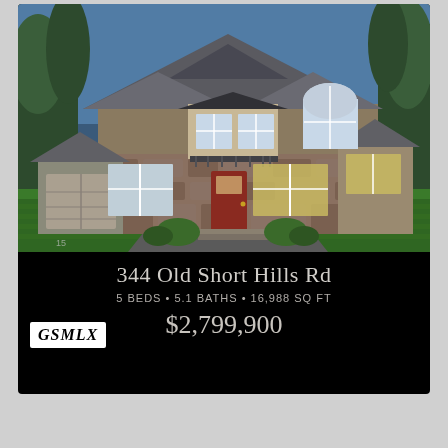[Figure (photo): Two-story craftsman-style house with stone facade, red front door, garage on left, manicured green lawn, blue sky with trees in background]
344 Old Short Hills Rd
5 BEDS • 5.1 BATHS • 16,988 SQ FT
$2,799,900
[Figure (logo): GSMLX logo in black italic serif font on white background]